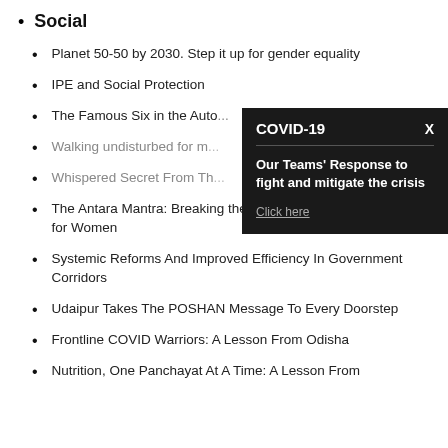Social
Planet 50-50 by 2030. Step it up for gender equality
IPE and Social Protection
The Famous Six in the Auto...
Walking undisturbed for m...
Whispered Secret From Th...
The Antara Mantra: Breaking the Cycle of Choice less Choices for Women
Systemic Reforms And Improved Efficiency In Government Corridors
Udaipur Takes The POSHAN Message To Every Doorstep
Frontline COVID Warriors: A Lesson From Odisha
Nutrition, One Panchayat At A Time: A Lesson From
[Figure (infographic): COVID-19 popup overlay on dark background with title 'COVID-19', subheading 'Our Teams' Response to fight and mitigate the crisis', and a 'Click here' link. Has an X close button in top right corner.]